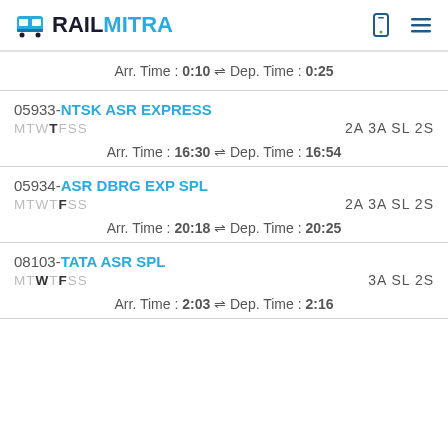RAILMITRA
Arr. Time : 0:10 ⇌ Dep. Time : 0:25
05933-NTSK ASR EXPRESS MTWTFSS 2A 3A SL 2S Arr. Time : 16:30 ⇌ Dep. Time : 16:54
05934-ASR DBRG EXP SPL MTWTFSS 2A 3A SL 2S Arr. Time : 20:18 ⇌ Dep. Time : 20:25
08103-TATA ASR SPL MTWTFSS 3A SL 2S Arr. Time : 2:03 ⇌ Dep. Time : 2:16